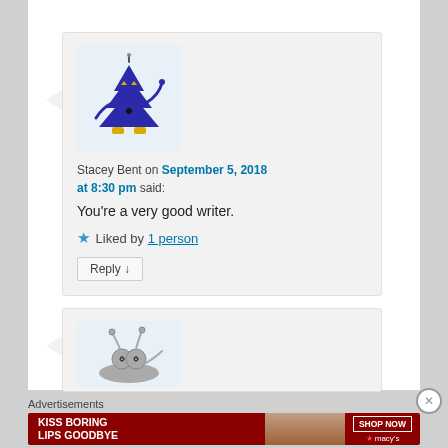[Figure (illustration): Blue cartoon Christmas tree character with yellow eyes, feet, and waving arm, on light blue background]
Stacey Bent on September 5, 2018 at 8:30 pm said:
You're a very good writer.
★ Liked by 1 person
Reply ↓
[Figure (illustration): Gray cartoon robot or snail character with googly eyes and antenna]
Advertisements
KISS BORING LIPS GOODBYE  SHOP NOW ★ macy's